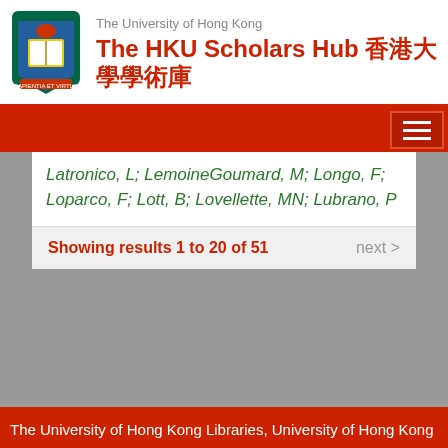The University of Hong Kong — The HKU Scholars Hub 香港大學學術庫
Latronico, L; LemoineGoumard, M; Longo, F; Loparco, F; Lott, B; Lovellette, MN; Lubrano, P
Showing results 1 to 20 of 51   next >
The University of Hong Kong Libraries, University of Hong Kong — Contact HKU Scholars Hub — Tel: 2241-5841 — Email: hub@lib.hku.hk